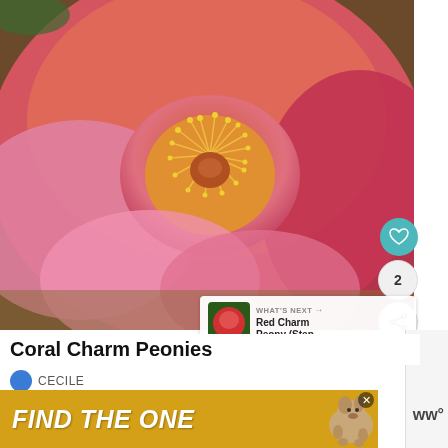[Figure (photo): Close-up photograph of a Coral Charm Peony flower with pink and coral-orange petals and golden yellow stamens in the center]
Coral Charm Peonies
[Figure (photo): Small thumbnail of Red Charm Peony for 'What's Next' recommendation panel]
WHAT'S NEXT → Red Charm Peony (Step...
CECILE
[Figure (photo): Advertisement banner: FIND THE ONE with a dog image]